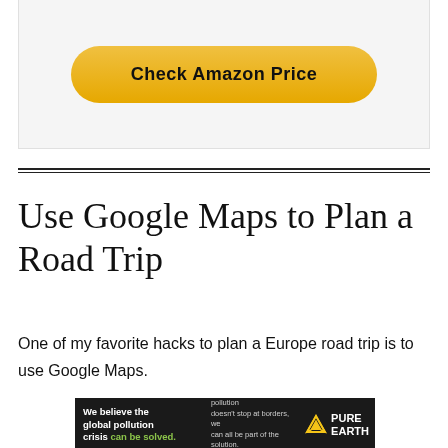[Figure (other): Amazon price check button inside a light gray card. A large rounded yellow/gold button labeled 'Check Amazon Price' in bold black text.]
Use Google Maps to Plan a Road Trip
One of my favorite hacks to plan a Europe road trip is to use Google Maps.
[Figure (other): Pure Earth advertisement banner with black background. Left: white bold text 'We believe the global pollution crisis can be solved.' with 'can be solved.' in green. Middle: small grey text 'In a world where pollution doesn't stop at borders, we can all be part of the solution.' followed by 'JOIN US.' in yellow. Right: Pure Earth logo with gold diamond/triangle icon and white text 'PURE EARTH'.]